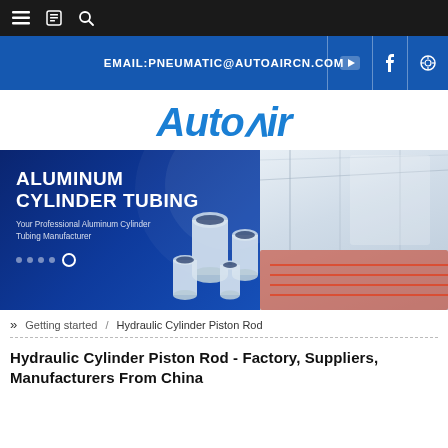Navigation bar with menu, book, and search icons
[Figure (screenshot): AutoAir website header with blue band showing EMAIL:PNEUMATIC@AUTOAIRCN.COM and social icons (YouTube, Facebook, other)]
[Figure (logo): AutoAir logo in blue italic bold font]
[Figure (photo): Banner image showing ALUMINUM CYLINDER TUBING with text 'Your Professional Aluminum Cylinder Tubing Manufacturer', aluminum cylinder tubes on left side and factory interior on right side]
» Getting started / Hydraulic Cylinder Piston Rod
Hydraulic Cylinder Piston Rod - Factory, Suppliers, Manufacturers From China